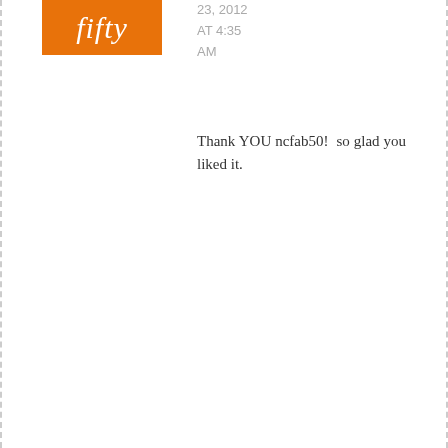[Figure (logo): Orange logo banner with italic white script text 'fifty']
23, 2012 AT 4:35 AM
Thank YOU ncfab50! so glad you liked it.
REPLY
Leave a Reply
Name
Email (will not be published)